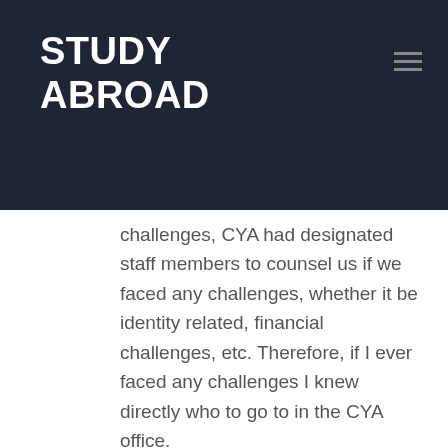STUDY ABROAD
challenges, CYA had designated staff members to counsel us if we faced any challenges, whether it be identity related, financial challenges, etc. Therefore, if I ever faced any challenges I knew directly who to go to in the CYA office.
Memories
[Figure (photo): Bottom portion of a photo with a blue-grey gradient sky background, a yellow-green circular avatar button with a person icon, and a grey scroll-to-top button on the right.]